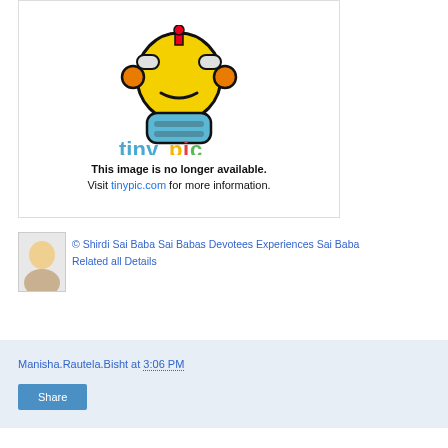[Figure (screenshot): Tinypic placeholder image showing mascot robot and text 'This image is no longer available. Visit tinypic.com for more information.']
© Shirdi Sai Baba Sai Babas Devotees Experiences Sai Baba Related all Details
Manisha.Rautela.Bisht at 3:06 PM
Share